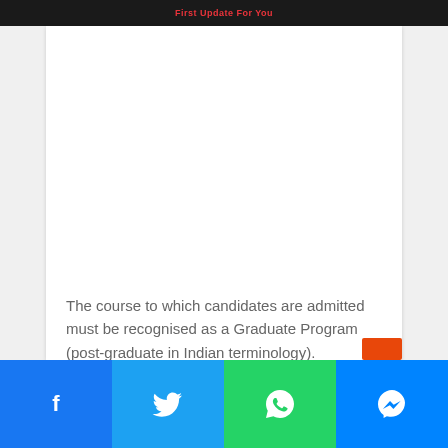First Update For You
[Figure (other): Advertisement/blank white area]
The course to which candidates are admitted must be recognised as a Graduate Program (post-graduate in Indian terminology).
Prizes & Rewards:
Facebook | Twitter | WhatsApp | Messenger social share bar